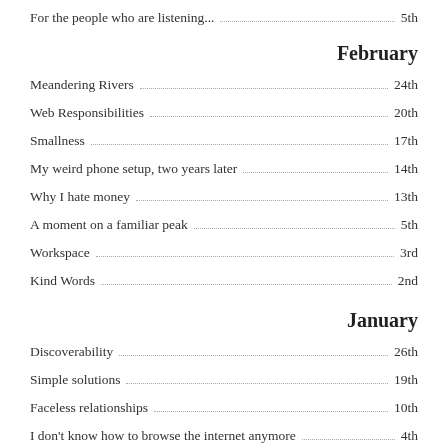For the people who are listening... 5th
February
Meandering Rivers 24th
Web Responsibilities 20th
Smallness 17th
My weird phone setup, two years later 14th
Why I hate money 13th
A moment on a familiar peak 5th
Workspace 3rd
Kind Words 2nd
January
Discoverability 26th
Simple solutions 19th
Faceless relationships 10th
I don't know how to browse the internet anymore 4th